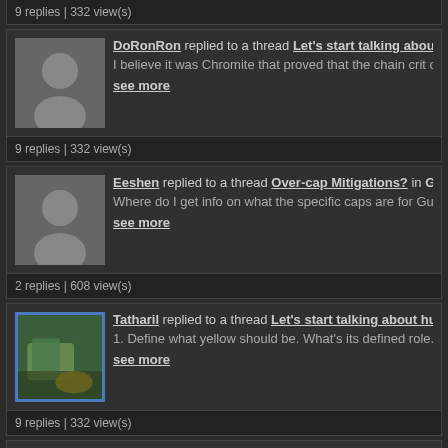9 replies | 332 view(s)
DoRonRon replied to a thread Let's start talking abou... I believe it was Chromite that proved that the chain crit of Ra... see more
9 replies | 332 view(s)
Eeshen replied to a thread Over-cap Mitigations? in G... Where do I get info on what the specific caps are for Guardia... see more
2 replies | 608 view(s)
Tatharil replied to a thread Let's start talking about hu... 1. Define what yellow should be. What's its defined role. It trie... see more
9 replies | 332 view(s)
TesalionLortus replied to a thread The Major Announc... This makes sense on paper but... if SSG did their *usual thin... see more